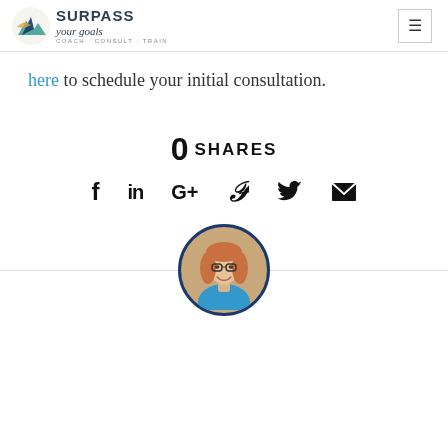Surpass Your Goals — Coach · Consult · Train
here to schedule your initial consultation.
0 SHARES
[Figure (infographic): Social sharing icons: Facebook (f), LinkedIn (in), Google+ (G+), Pinterest (p), Twitter (bird), Email (envelope)]
[Figure (photo): Circular author headshot of a smiling woman with red/blonde hair and glasses, wearing a blue top, framed with a dark navy border circle.]